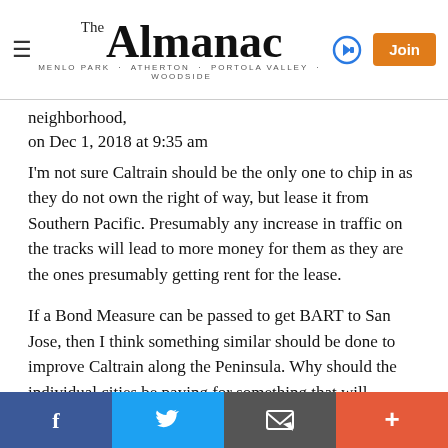The Almanac — MENLO PARK · ATHERTON · PORTOLA VALLEY · WOODSIDE
neighborhood,
on Dec 1, 2018 at 9:35 am
I'm not sure Caltrain should be the only one to chip in as they do not own the right of way, but lease it from Southern Pacific. Presumably any increase in traffic on the tracks will lead to more money for them as they are the ones presumably getting rent for the lease.
If a Bond Measure can be passed to get BART to San Jose, then I think something similar should be done to improve Caltrain along the Peninsula. Why should the individual cities be paying for something that will improve the service for all including those who don't use Caltrain between San Jose and San Francisco. All counties/cities should be footing the bill on this. In fact, since the President promised money for infrastructure
Facebook | Twitter | Email | More